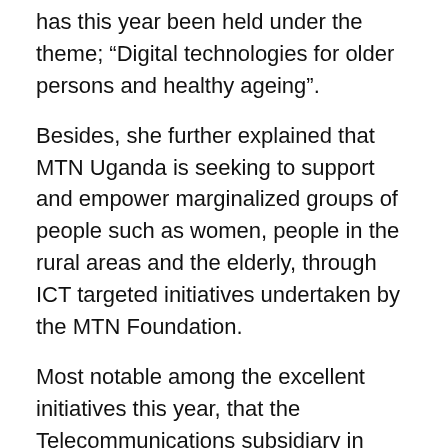has this year been held under the theme; “Digital technologies for older persons and healthy ageing”.
Besides, she further explained that MTN Uganda is seeking to support and empower marginalized groups of people such as women, people in the rural areas and the elderly, through ICT targeted initiatives undertaken by the MTN Foundation.
Most notable among the excellent initiatives this year, that the Telecommunications subsidiary in Uganda instituted include the MTN Internet Bus, which traverses parts of the country equipping people especially the youth, with basic computer skills, the MTN ICT Community hubs and the National ICT Innovation Hub program.
Another succinct program, the Youth Skilling Program was instituted by MTN in 2020 with a prime aim of equipping